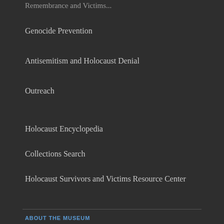Genocide Prevention
Antisemitism and Holocaust Denial
Outreach
Holocaust Encyclopedia
Collections Search
Holocaust Survivors and Victims Resource Center
History Unfolded
Experiencing History
Early Warning Project
ABOUT THE MUSEUM